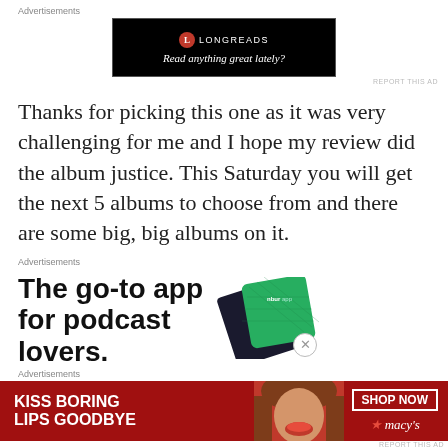Advertisements
[Figure (screenshot): Longreads advertisement banner with black background: red circle L logo, LONGREADS text, 'Read anything great lately?' tagline]
Thanks for picking this one as it was very challenging for me and I hope my review did the album justice. This Saturday you will get the next 5 albums to choose from and there are some big, big albums on it.
Advertisements
[Figure (screenshot): Podcast app advertisement: 'The go-to app for podcast lovers.' with a phone/card image]
Advertisements
[Figure (screenshot): Macy's advertisement: 'KISS BORING LIPS GOODBYE' with woman's face and red lips, SHOP NOW button, Macy's star logo]